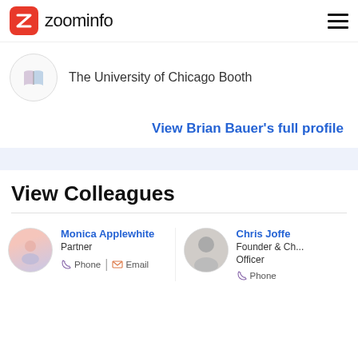zoominfo
[Figure (logo): ZoomInfo logo with red rounded square icon containing white Z arrow mark and 'zoominfo' wordmark]
The University of Chicago Booth
View Brian Bauer's full profile
View Colleagues
Monica Applewhite
Partner
Phone | Email
Chris Joffe
Founder & Ch... Officer
Phone